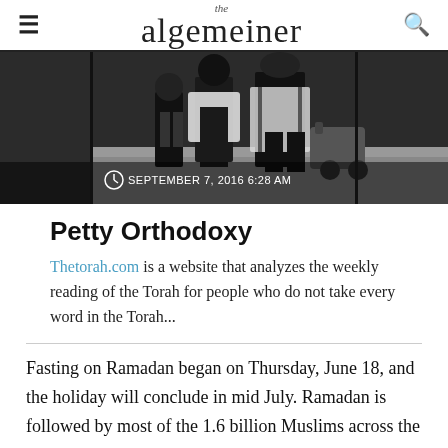the algemeiner
[Figure (photo): Photo of people in traditional Orthodox Jewish dress walking, with a date overlay reading SEPTEMBER 7, 2016 6:28 AM and comment count 16]
Petty Orthodoxy
Thetorah.com is a website that analyzes the weekly reading of the Torah for people who do not take every word in the Torah...
Fasting on Ramadan began on Thursday, June 18, and the holiday will conclude in mid July. Ramadan is followed by most of the 1.6 billion Muslims across the world.